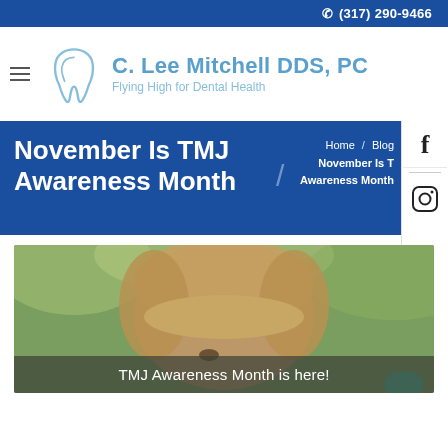(317) 290-9466
[Figure (logo): C. Lee Mitchell DDS, PC logo with tooth icon and tagline: Flying High for Dental Health]
November Is TMJ Awareness Month
Home / Blog / November Is TMJ Awareness Month
[Figure (photo): Photo of a young girl outdoors with text overlay: TMJ Awareness Month is here!]